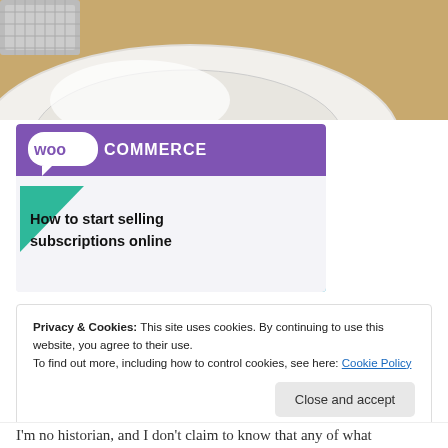[Figure (photo): Close-up photo of a white ceramic plate or bowl edge on a cork/wood surface with a metallic strainer visible at top left]
[Figure (illustration): WooCommerce promotional banner with purple header logo, teal and blue decorative triangles, and bold text reading 'How to start selling subscriptions online']
Privacy & Cookies: This site uses cookies. By continuing to use this website, you agree to their use.
To find out more, including how to control cookies, see here: Cookie Policy
Close and accept
I'm no historian, and I don't claim to know that any of what